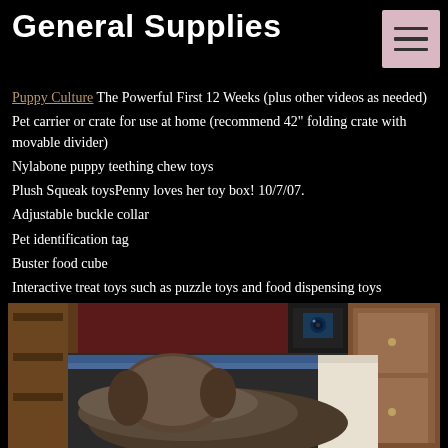General Supplies
Puppy Culture The Powerful First 12 Weeks (plus other videos as needed)
Pet carrier or crate for use at home (recommend 42" folding crate with movable divider)
Nylabone puppy teething chew toys
Plush Squeak toysPenny loves her toy box! 10/7/07.
Adjustable buckle collar
Pet identification tag
Buster food cube
Interactive treat toys such as puzzle toys and food dispensing toys
Stainless, glass, or ceramic food and water bowls
[Figure (photo): A dog lying down on what appears to be a bed or cushion, seen from above/behind, with a dark red wall and wooden furniture in the background.]